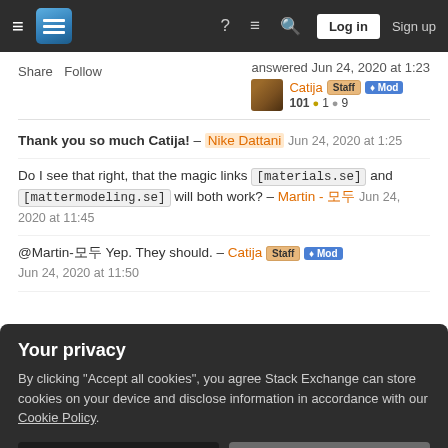Stack Exchange navigation bar with hamburger menu, logo, help, chat, search icons, Log in and Sign up buttons
Share  Follow     answered Jun 24, 2020 at 1:23   Catija [Staff] [Mod]   101 ●1 ●9
Thank you so much Catija! – Nike Dattani  Jun 24, 2020 at 1:25
Do I see that right, that the magic links [materials.se] and [mattermodeling.se] will both work? – Martin - 모두 Jun 24, 2020 at 11:45
@Martin-모두 Yep. They should. – Catija [Staff] [Mod]  Jun 24, 2020 at 11:50
Your privacy
By clicking "Accept all cookies", you agree Stack Exchange can store cookies on your device and disclose information in accordance with our Cookie Policy.
Accept all cookies   Customize settings
By having our name "Materials